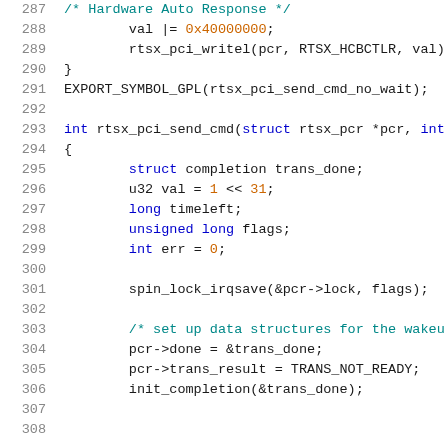[Figure (screenshot): Source code listing showing C code for rtsx_pci_send_cmd function, lines 287-307, with syntax highlighting. Comments in teal, keywords in blue/green, numbers in orange, function names in black.]